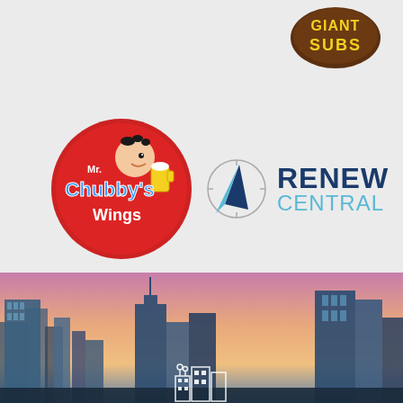[Figure (logo): Giant Subs logo - brown circular badge with yellow text GIANT SUBS]
[Figure (logo): Mr. Chubby's Wings logo - circular red badge with cartoon character holding beer mug, blue stylized text]
[Figure (logo): Renew Central logo - compass/arrow graphic with dark blue RENEW and light blue CENTRAL text]
see all clients
[Figure (photo): City skyline at dusk/sunset with tall buildings, pink and purple sky, small city icon overlay at bottom center]